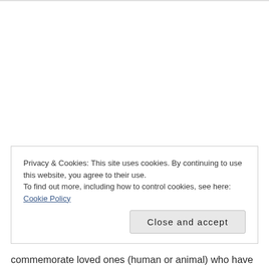Privacy & Cookies: This site uses cookies. By continuing to use this website, you agree to their use.
To find out more, including how to control cookies, see here: Cookie Policy
Close and accept
commemorate loved ones (human or animal) who have